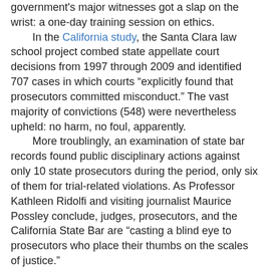government's major witnesses got a slap on the wrist: a one-day training session on ethics. In the California study, the Santa Clara law school project combed state appellate court decisions from 1997 through 2009 and identified 707 cases in which courts "explicitly found that prosecutors committed misconduct." The vast majority of convictions (548) were nevertheless upheld: no harm, no foul, apparently. More troublingly, an examination of state bar records found public disciplinary actions against only 10 state prosecutors during the period, only six of them for trial-related violations. As Professor Kathleen Ridolfi and visiting journalist Maurice Possley conclude, judges, prosecutors, and the California State Bar are "casting a blind eye to prosecutors who place their thumbs on the scales of justice." The Supreme Court could play a role in changing the lax attitude toward errant prosecutors, but the justices' questions in Thompson's case point in the opposite direction. One more sign of the justices' solicitude toward government attorneys came today (Oct. 18) when they agreed to hear former Attorney General John Ashcroft's appeal in a case, Ashcroft v. Al-Kidd, testing whether he can be held individually liable for alleged misuse of the federal material